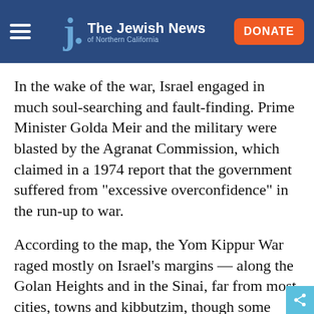The Jewish News of Northern California
In the wake of the war, Israel engaged in much soul-searching and fault-finding. Prime Minister Golda Meir and the military were blasted by the Agranat Commission, which claimed in a 1974 report that the government suffered from “excessive overconfidence” in the run-up to war.
According to the map, the Yom Kippur War raged mostly on Israel’s margins — along the Golan Heights and in the Sinai, far from most cities, towns and kibbutzim, though some missiles landed in the heartland.
But for Israelis and foreign visitors in the country